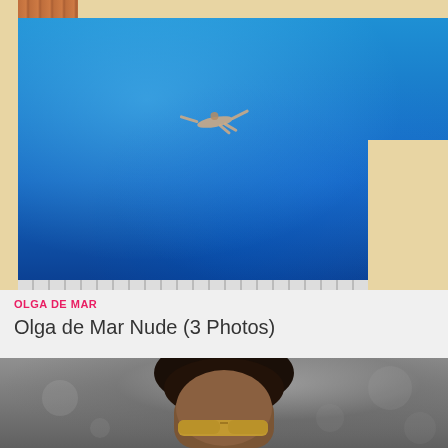[Figure (photo): Aerial view of a swimming pool with a person floating in bright blue water, pool edges visible, wooden fence/structure at top left]
OLGA DE MAR
Olga de Mar Nude (3 Photos)
[Figure (photo): Close-up portrait of a person with dark hair in an updo, wearing sunglasses, blurred background]